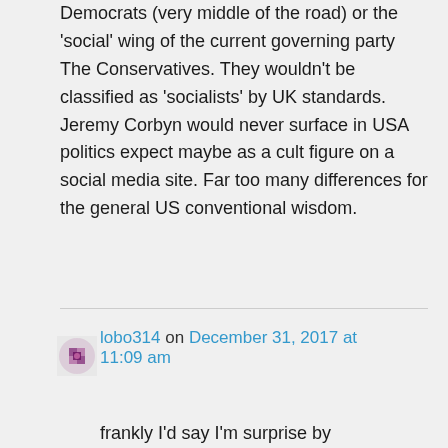Democrats (very middle of the road) or the ‘social’ wing of the current governing party The Conservatives. They wouldn't be classified as ‘socialists’ by UK standards. Jeremy Corbyn would never surface in USA politics expect maybe as a cult figure on a social media site. Far too many differences for the general US conventional wisdom.
lobo314 on December 31, 2017 at 11:09 am
frankly I’d say I’m surprise by